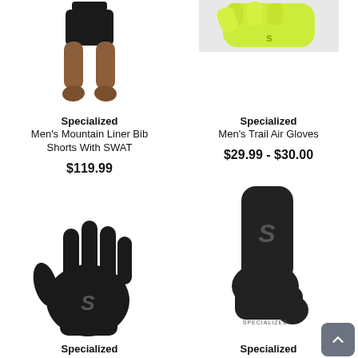[Figure (photo): Product photo: person's legs wearing bib shorts, cropped at torso and feet, white background]
Specialized
Men's Mountain Liner Bib Shorts With SWAT
$119.99
[Figure (photo): Product photo: neon yellow/green specialized glove on white/grey background]
Specialized
Men's Trail Air Gloves
$29.99 - $30.00
[Figure (photo): Product photo: black full-finger cycling glove with Specialized S logo]
Specialized
[Figure (photo): Product photo: black cycling crew sock with Specialized S logo]
Specialized